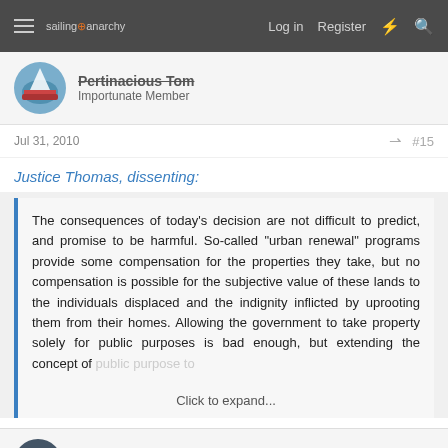sailing anarchy — Log in  Register
Pertinacious Tom
Importunate Member
Jul 31, 2010  #15
Justice Thomas, dissenting:
The consequences of today's decision are not difficult to predict, and promise to be harmful. So-called "urban renewal" programs provide some compensation for the properties they take, but no compensation is possible for the subjective value of these lands to the individuals displaced and the indignity inflicted by uprooting them from their homes. Allowing the government to take property solely for public purposes is bad enough, but extending the concept of public purpose to
Click to expand...
Saorsa